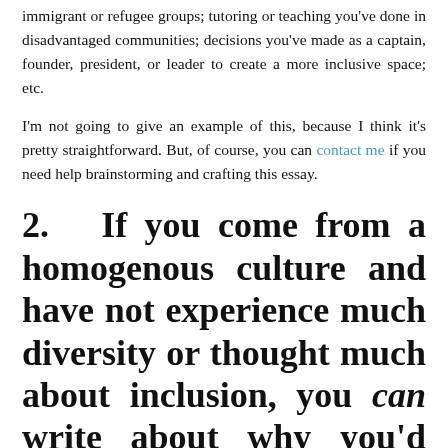immigrant or refugee groups; tutoring or teaching you've done in disadvantaged communities; decisions you've made as a captain, founder, president, or leader to create a more inclusive space; etc.
I'm not going to give an example of this, because I think it's pretty straightforward. But, of course, you can contact me if you need help brainstorming and crafting this essay.
2.  If you come from a homogenous culture and have not experience much diversity or thought much about inclusion, you can write about why you'd like to be part of a diverse and inclusive